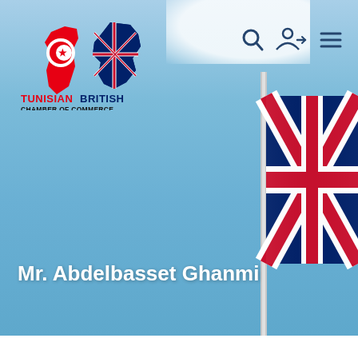[Figure (logo): Tunisian British Chamber of Commerce logo: overlapping maps of Tunisia (red) and UK (blue with Union Jack), with circular Tunisian flag emblem. Text reads TUNISIAN BRITISH CHAMBER OF COMMERCE]
[Figure (photo): Blue sky background with Union Jack flag of the United Kingdom waving on a pole on the right side of the image]
Mr. Abdelbasset Ghanmi